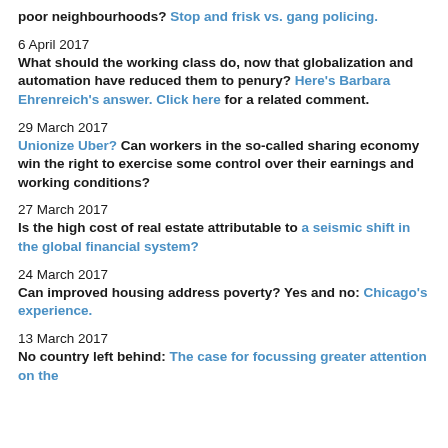poor neighbourhoods? Stop and frisk vs. gang policing.
6 April 2017 — What should the working class do, now that globalization and automation have reduced them to penury? Here's Barbara Ehrenreich's answer. Click here for a related comment.
29 March 2017 — Unionize Uber? Can workers in the so-called sharing economy win the right to exercise some control over their earnings and working conditions?
27 March 2017 — Is the high cost of real estate attributable to a seismic shift in the global financial system?
24 March 2017 — Can improved housing address poverty? Yes and no: Chicago's experience.
13 March 2017 — No country left behind: The case for focussing greater attention on the